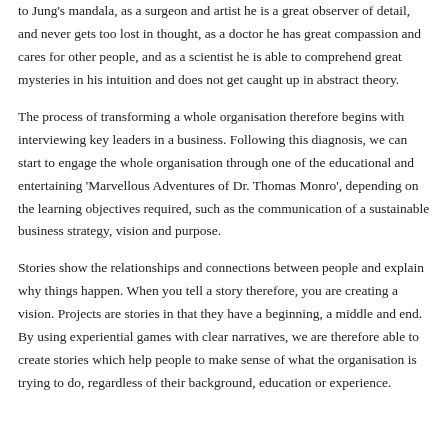to Jung's mandala, as a surgeon and artist he is a great observer of detail, and never gets too lost in thought, as a doctor he has great compassion and cares for other people, and as a scientist he is able to comprehend great mysteries in his intuition and does not get caught up in abstract theory.
The process of transforming a whole organisation therefore begins with interviewing key leaders in a business. Following this diagnosis, we can start to engage the whole organisation through one of the educational and entertaining 'Marvellous Adventures of Dr. Thomas Monro', depending on the learning objectives required, such as the communication of a sustainable business strategy, vision and purpose.
Stories show the relationships and connections between people and explain why things happen. When you tell a story therefore, you are creating a vision. Projects are stories in that they have a beginning, a middle and end. By using experiential games with clear narratives, we are therefore able to create stories which help people to make sense of what the organisation is trying to do, regardless of their background, education or experience.